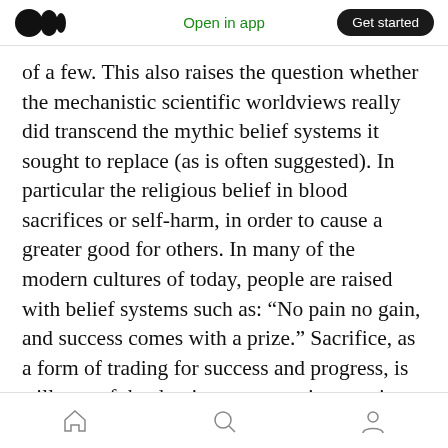Medium logo | Open in app | Get started
of a few. This also raises the question whether the mechanistic scientific worldviews really did transcend the mythic belief systems it sought to replace (as is often suggested). In particular the religious belief in blood sacrifices or self-harm, in order to cause a greater good for others. In many of the modern cultures of today, people are raised with belief systems such as: “No pain no gain, and success comes with a prize.” Sacrifice, as a form of trading for success and progress, is still part of the dominant economic narratives. And this narrative also features in many of the stories
Home | Search | Profile